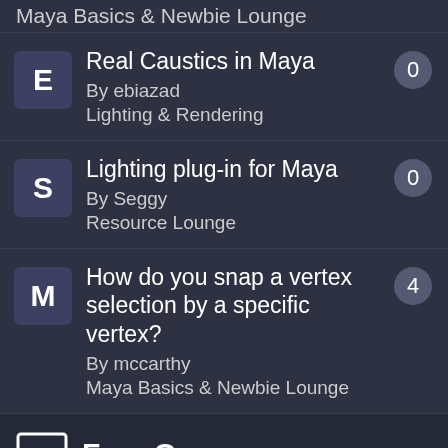Maya Basics & Newbie Lounge
Real Caustics in Maya
By ebiazad
Lighting & Rendering
0
Lighting plug-in for Maya
By Seggy
Resource Lounge
0
How do you snap a vertex selection by a specific vertex?
By mccarthy
Maya Basics & Newbie Lounge
4
Free Courses